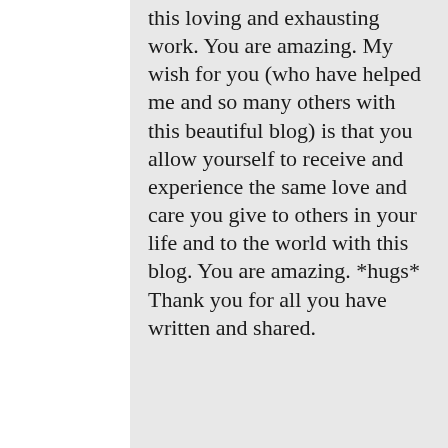this loving and exhausting work. You are amazing. My wish for you (who have helped me and so many others with this beautiful blog) is that you allow yourself to receive and experience the same love and care you give to others in your life and to the world with this blog. You are amazing. *hugs* Thank you for all you have written and shared.